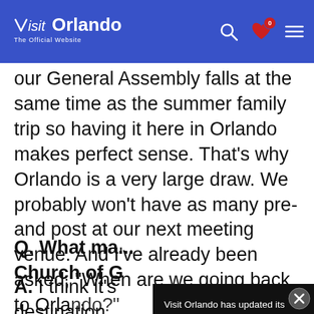Visit Orlando — The Official Website
our General Assembly falls at the same time as the summer family trip so having it here in Orlando makes perfect sense. That's why Orlando is a very large draw. We probably won't have as many pre-and post at our next meeting venue. And I've already been asked, "When are we going back to Orlando?"
Q. What ma... Church of G...
A. I think it's... destination... be a family...
Visit Orlando has updated its U.S. Privacy Policy. Please read this document as the changes affect your legal rights. By remaining on this website you indicate your consent.
Privacy Policy